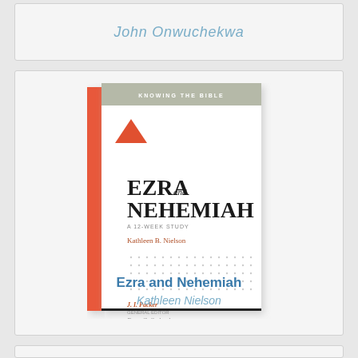John Onwuchekwa
[Figure (photo): Book cover of 'Ezra and Nehemiah: A 12-Week Study' from the Knowing the Bible series, with authors Kathleen Nielson, J.I. Packer, and Dane C. Ortlund. White cover with red triangle logo and orange spine.]
Ezra and Nehemiah
Kathleen Nielson